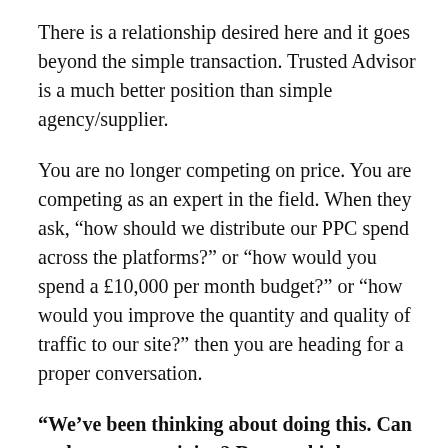There is a relationship desired here and it goes beyond the simple transaction. Trusted Advisor is a much better position than simple agency/supplier.
You are no longer competing on price. You are competing as an expert in the field. When they ask, “how should we distribute our PPC spend across the platforms?” or “how would you spend a £10,000 per month budget?” or “how would you improve the quantity and quality of traffic to our site?” then you are heading for a proper conversation.
“We’ve been thinking about doing this. Can we have your opinion? Do you think we should do it and if so, how?”